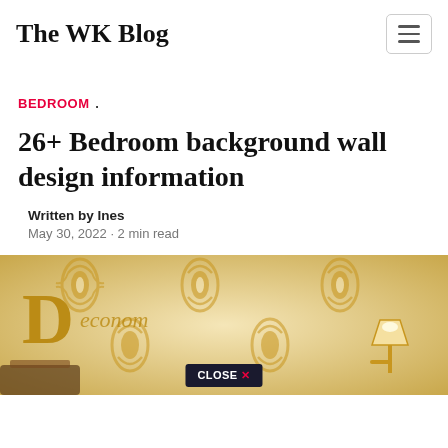The WK Blog
BEDROOM .
26+ Bedroom background wall design information
Written by Ines
May 30, 2022 · 2 min read
[Figure (photo): Decorative golden damask wallpaper with wall lamp; overlaid with a 'CLOSE X' button at the bottom center]